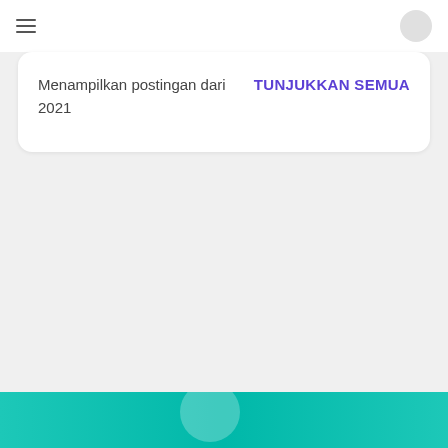Menampilkan postingan dari 2021
TUNJUKKAN SEMUA
[Figure (other): Teal/green banner bar at the bottom with a partial white circle element visible]